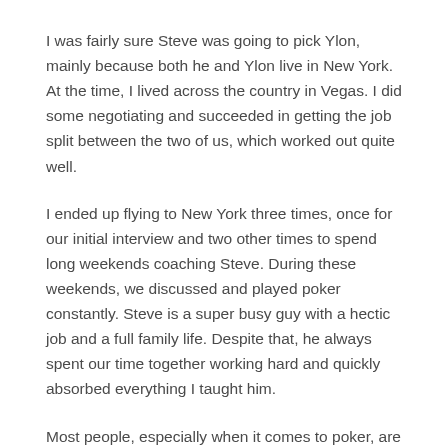I was fairly sure Steve was going to pick Ylon, mainly because both he and Ylon live in New York. At the time, I lived across the country in Vegas. I did some negotiating and succeeded in getting the job split between the two of us, which worked out quite well.
I ended up flying to New York three times, once for our initial interview and two other times to spend long weekends coaching Steve. During these weekends, we discussed and played poker constantly. Steve is a super busy guy with a hectic job and a full family life. Despite that, he always spent our time together working hard and quickly absorbed everything I taught him.
Most people, especially when it comes to poker, are stuck in their ways. They refuse to believe they might actually be bad at poker. Steve was the opposite, realizing that Ylon and I were on a different level than he was. He learned a lot from us because he had an open mind and wanted to learn.